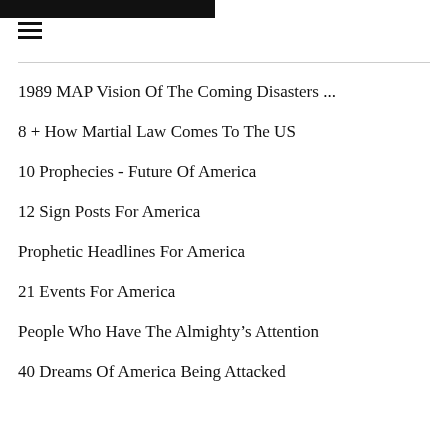[Figure (photo): Dark/black header image banner]
1989 MAP Vision Of The Coming Disasters ...
8 + How Martial Law Comes To The US
10 Prophecies - Future Of America
12 Sign Posts For America
Prophetic Headlines For America
21 Events For America
People Who Have The Almighty's Attention
40 Dreams Of America Being Attacked